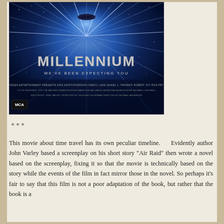[Figure (photo): Movie poster for 'Millennium' showing a blue starfield/light burst background with a large spacecraft, the title 'MILLENNIUM' in large silver/white letters, tagline 'WE'VE BEEN EXPECTING YOU', and movie credits at the bottom.]
***
This movie about time travel has its own peculiar timeline.    Evidently author John Varley based a screenplay on his short story "Air Raid" then wrote a novel based on the screenplay, fixing it so that the movie is technically based on the story while the events of the film in fact mirror those in the novel. So perhaps it's fair to say that this film is not a poor adaptation of the book, but rather that the book is a...